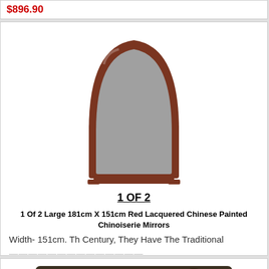$896.90
[Figure (photo): An arched wall mirror with a dark reddish-brown lacquered wooden frame, viewed from the front against a white background.]
1 OF 2
1 Of 2 Large 181cm X 151cm Red Lacquered Chinese Painted Chinoiserie Mirrors
Width- 151cm. Th Century, They Have The Traditional ...
$2418.80
[Figure (photo): A framed artwork showing a classical scene with multiple figures gathered around a table, in dark sepia tones with an ornate dark frame.]